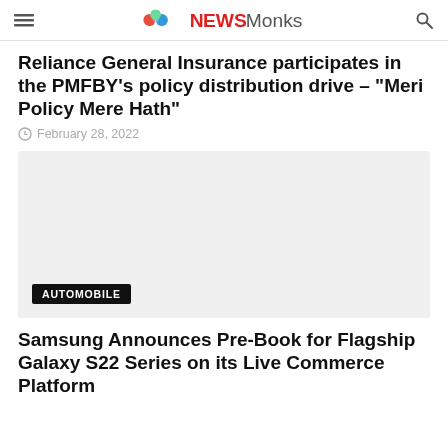NEWSMonks
Reliance General Insurance participates in the PMFBY's policy distribution drive – "Meri Policy Mere Hath"
February 28, 2022
[Figure (photo): Gray placeholder image with AUTOMOBILE category badge at bottom left]
Samsung Announces Pre-Book for Flagship Galaxy S22 Series on its Live Commerce Platform